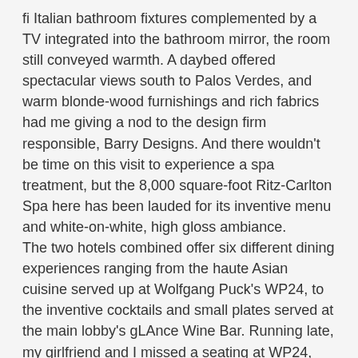fi Italian bathroom fixtures complemented by a TV integrated into the bathroom mirror, the room still conveyed warmth. A daybed offered spectacular views south to Palos Verdes, and warm blonde-wood furnishings and rich fabrics had me giving a nod to the design firm responsible, Barry Designs. And there wouldn't be time on this visit to experience a spa treatment, but the 8,000 square-foot Ritz-Carlton Spa here has been lauded for its inventive menu and white-on-white, high gloss ambiance.
The two hotels combined offer six different dining experiences ranging from the haute Asian cuisine served up at Wolfgang Puck's WP24, to the inventive cocktails and small plates served at the main lobby's gLAnce Wine Bar. Running late, my girlfriend and I missed a seating at WP24, but we were definitely pleased with small plates like a California artisan cheese plate and Toscano salami and American prosciutto at gLAnce.
We saved the best for last, however, and for dessert, made our way to the pool deck to enjoy the Jacuzzi and world-class views of a glittering LA under the night sky.